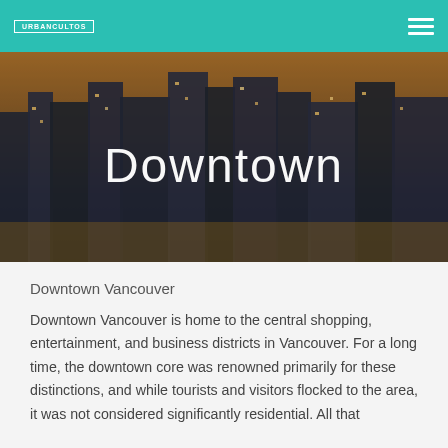URBANCULTOS (logo) | Menu
[Figure (photo): Aerial dusk/night view of downtown Vancouver skyline with city lights and streets visible, with the word 'Downtown' overlaid in large white text at center.]
Downtown
Downtown Vancouver
Downtown Vancouver is home to the central shopping, entertainment, and business districts in Vancouver. For a long time, the downtown core was renowned primarily for these distinctions, and while tourists and visitors flocked to the area, it was not considered significantly residential. All that